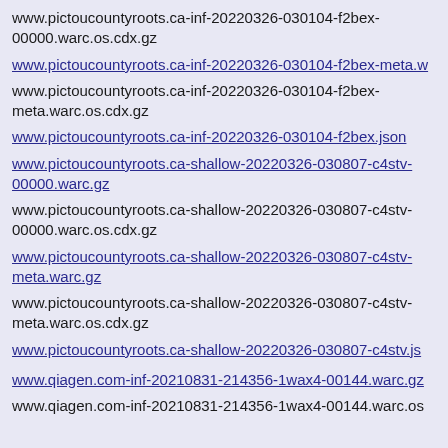www.pictoucountyroots.ca-inf-20220326-030104-f2bex-00000.warc.os.cdx.gz
www.pictoucountyroots.ca-inf-20220326-030104-f2bex-meta.w...
www.pictoucountyroots.ca-inf-20220326-030104-f2bex-meta.warc.os.cdx.gz
www.pictoucountyroots.ca-inf-20220326-030104-f2bex.json
www.pictoucountyroots.ca-shallow-20220326-030807-c4stv-00000.warc.gz
www.pictoucountyroots.ca-shallow-20220326-030807-c4stv-00000.warc.os.cdx.gz
www.pictoucountyroots.ca-shallow-20220326-030807-c4stv-meta.warc.gz
www.pictoucountyroots.ca-shallow-20220326-030807-c4stv-meta.warc.os.cdx.gz
www.pictoucountyroots.ca-shallow-20220326-030807-c4stv.js...
www.qiagen.com-inf-20210831-214356-1wax4-00144.warc.gz
www.qiagen.com-inf-20210831-214356-1wax4-00144.warc.os...